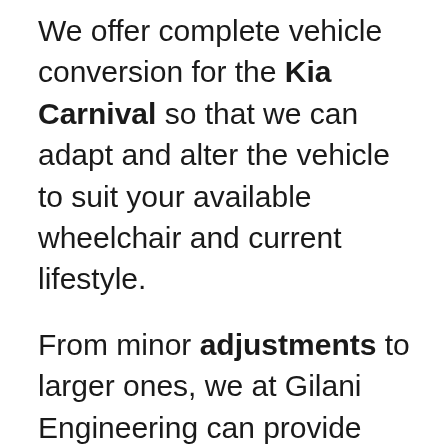We offer complete vehicle conversion for the Kia Carnival so that we can adapt and alter the vehicle to suit your available wheelchair and current lifestyle.
From minor adjustments to larger ones, we at Gilani Engineering can provide you with any solution when it comes to vehicle modification. We want to ensure that all requirements and needs are met so that you, your carer or your family can